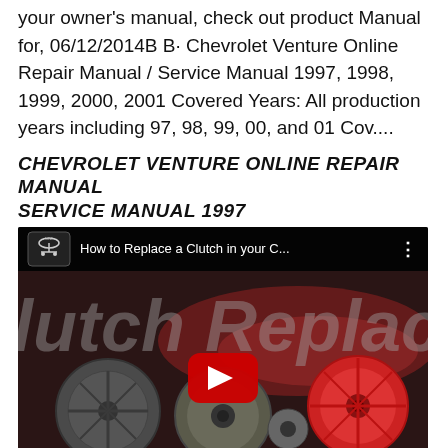your owner's manual, check out product Manual for, 06/12/2014B B· Chevrolet Venture Online Repair Manual / Service Manual 1997, 1998, 1999, 2000, 2001 Covered Years: All production years including 97, 98, 99, 00, and 01 Cov....
CHEVROLET VENTURE ONLINE REPAIR MANUAL SERVICE MANUAL 1997
[Figure (screenshot): YouTube video thumbnail for 'How to Replace a Clutch in your C...' showing clutch replacement parts including clutch discs and pressure plates on a dark background with red car visible, with YouTube play button in center.]